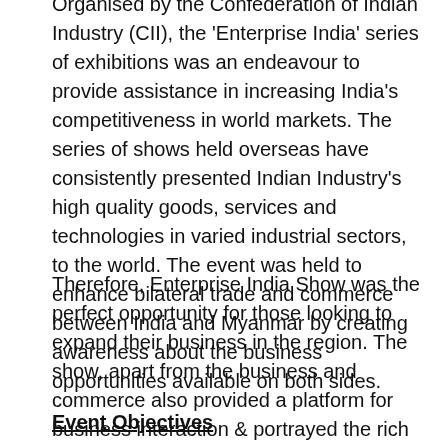Organised by the Confederation of Indian Industry (CII), the 'Enterprise India' series of exhibitions was an endeavour to provide assistance in increasing India's competitiveness in world markets. The series of shows held overseas have consistently presented Indian Industry's high quality goods, services and technologies in varied industrial sectors, to the world. The event was held to enhance bilateral trade and commerce between India and Myanmar by creating awareness about the business opportunities available on both sides.
Therefore, Enterprise India Show was the perfect opportunity for those looking to expand their business in the region. The show, apart from the business and commerce also provided a platform for business interaction & portrayed the rich Indian cultural heritage, exhibited through cultural events, food festivals etc.
Event Objectives